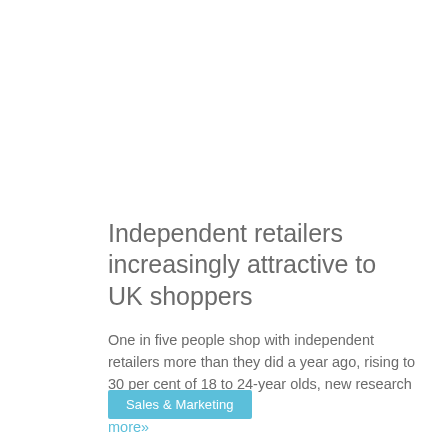Independent retailers increasingly attractive to UK shoppers
One in five people shop with independent retailers more than they did a year ago, rising to 30 per cent of 18 to 24-year olds, new research has shown. more»
Sales & Marketing